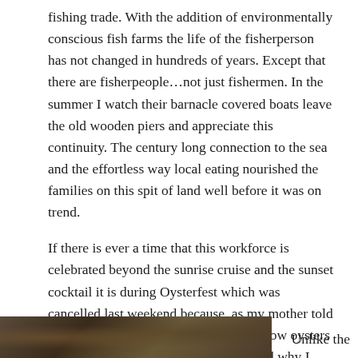fishing trade. With the addition of environmentally conscious fish farms the life of the fisherperson has not changed in hundreds of years. Except that there are fisherpeople…not just fishermen. In the summer I watch their barnacle covered boats leave the old wooden piers and appreciate this continuity. The century long connection to the sea and the effortless way local eating nourished the families on this spit of land well before it was on trend.
If there is ever a time that this workforce is celebrated beyond the sunrise cruise and the sunset cocktail it is during Oysterfest which was cancelled last weekend because, as my mother told me,  the oysters are tainted. “I didn’t know oysters had taints” said Steve and I remembered why I married him.
[Figure (photo): Partial photo strip at bottom left showing what appears to be seafood or oysters, dark/earthy tones]
Unlike the